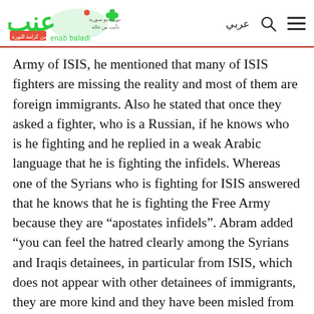Enab Baladi logo with Arabic navigation
Army of ISIS, he mentioned that many of ISIS fighters are missing the reality and most of them are foreign immigrants. Also he stated that once they asked a fighter, who is a Russian, if he knows who is he fighting and he replied in a weak Arabic language that he is fighting the infidels. Whereas one of the Syrians who is fighting for ISIS answered that he knows that he is fighting the Free Army because they are “apostates infidels”. Abram added “you can feel the hatred clearly among the Syrians and Iraqis detainees, in particular from ISIS, which does not appear with other detainees of immigrants, they are more kind and they have been misled from the reality”.